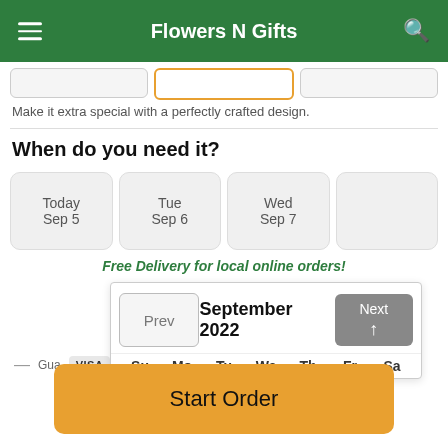Flowers N Gifts
Make it extra special with a perfectly crafted design.
When do you need it?
Today Sep 5
Tue Sep 6
Wed Sep 7
Free Delivery for local online orders!
[Figure (screenshot): Calendar popup showing September 2022 with Prev and Next navigation buttons and day headers Su Mo Tu We Th Fr Sa]
Gua... VISA
Start Order